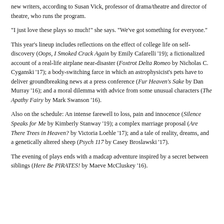new writers, according to Susan Vick, professor of drama/theatre and director of theatre, who runs the program.
"I just love these plays so much!" she says. "We've got something for everyone."
This year's lineup includes reflections on the effect of college life on self-discovery (Oops, I Smoked Crack Again by Emily Cafarelli '19); a fictionalized account of a real-life airplane near-disaster (Foxtrot Delta Romeo by Nicholas C. Cyganski '17); a body-switching farce in which an astrophysicist's pets have to deliver groundbreaking news at a press conference (Fur Heaven's Sake by Dan Murray '16); and a moral dilemma with advice from some unusual characters (The Apathy Fairy by Mark Swanson '16).
Also on the schedule: An intense farewell to loss, pain and innocence (Silence Speaks for Me by Kimberly Stanway '19); a complex marriage proposal (Are There Trees in Heaven? by Victoria Loehle '17); and a tale of reality, dreams, and a genetically altered sheep (Psych 117 by Casey Broslawski '17).
The evening of plays ends with a madcap adventure inspired by a secret between siblings (Here Be PIRATES! by Maeve McCluskey '16).